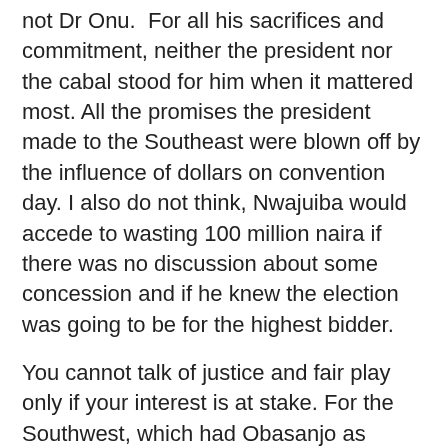not Dr Onu.  For all his sacrifices and commitment, neither the president nor the cabal stood for him when it mattered most. All the promises the president made to the Southeast were blown off by the influence of dollars on convention day. I also do not think, Nwajuiba would accede to wasting 100 million naira if there was no discussion about some concession and if he knew the election was going to be for the highest bidder.
You cannot talk of justice and fair play only if your interest is at stake. For the Southwest, which had Obasanjo as president for eight years—even though the parties are different—to think justice had been done because one of theirs emerged as a candidate is the height of dishonesty. And for not conceding to the Southeast; all of them, starting from President Buhari and his cabal, the Northern APC governors